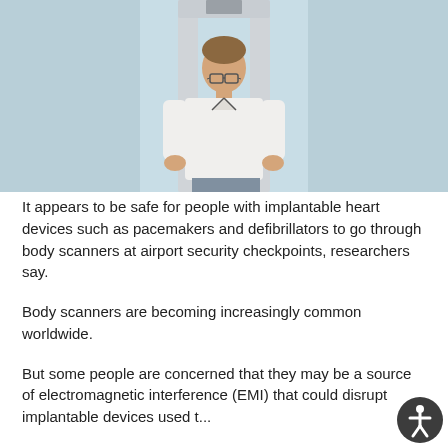[Figure (photo): A man wearing glasses and a white polo shirt walking through a metal detector / body scanner arch at an airport security checkpoint. The background is light blue.]
It appears to be safe for people with implantable heart devices such as pacemakers and defibrillators to go through body scanners at airport security checkpoints, researchers say.
Body scanners are becoming increasingly common worldwide.
But some people are concerned that they may be a source of electromagnetic interference (EMI) that could disrupt implantable devices used t...